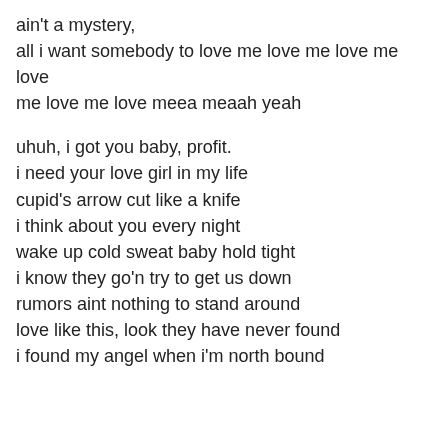ain't a mystery,
all i want somebody to love me love me love me love me love me love meea meaah yeah

uhuh, i got you baby, profit.
i need your love girl in my life
cupid's arrow cut like a knife
i think about you every night
wake up cold sweat baby hold tight
i know they go'n try to get us down
rumors aint nothing to stand around
love like this, look they have never found
i found my angel when i'm north bound